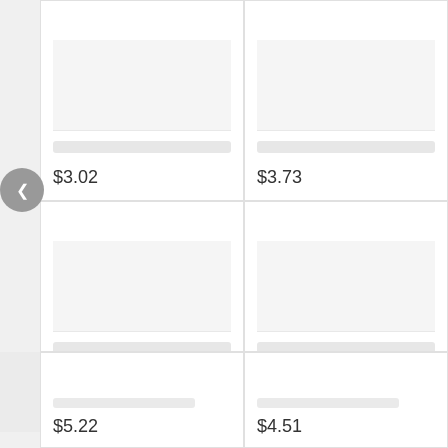[Figure (screenshot): E-commerce product grid showing 4 product cards with blurred titles and prices: $3.02 (top-left), $3.73 (top-right), $2.68 (bottom-left), $11.35 (bottom-right). A left scroll arrow is visible on the left edge.]
$3.02
$3.73
$2.68
$11.35
1
2
3
4
5
6
7
8
9
$5.22
$4.51